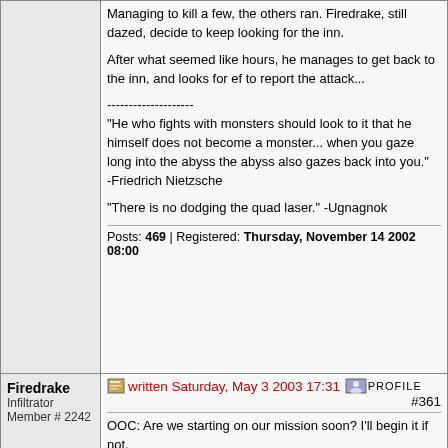Managing to kill a few, the others ran. Firedrake, still dazed, decide to keep looking for the inn.
After what seemed like hours, he manages to get back to the inn, and looks for ef to report the attack...
--------------------
"He who fights with monsters should look to it that he himself does not become a monster... when you gaze long into the abyss the abyss also gazes back into you."
-Friedrich Nietzsche
"There is no dodging the quad laser." -Ugnagnok
Posts: 469 | Registered: Thursday, November 14 2002 08:00
Firedrake
Infiltrator
Member # 2242
written Saturday, May 3 2003 17:31  PROFILE  #361
OOC: Are we starting on our mission soon? I'll begin it if not.